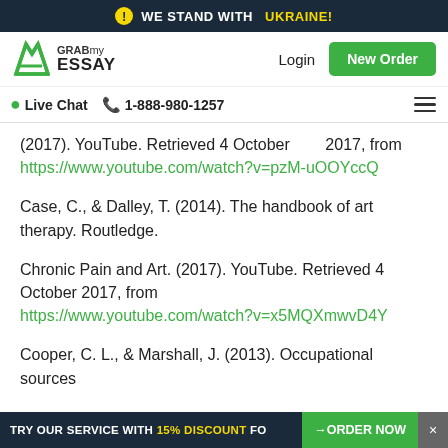WE STAND WITH UKRAINE!
[Figure (screenshot): GrabMyEssay website navigation bar with logo, Login link, and New Order button]
Live Chat  1-888-980-1257
(2017). YouTube. Retrieved 4 October 2017, from https://www.youtube.com/watch?v=pzM-uOOYccQ
Case, C., & Dalley, T. (2014). The handbook of art therapy. Routledge.
Chronic Pain and Art. (2017). YouTube. Retrieved 4 October 2017, from https://www.youtube.com/watch?v=x5MQXmwvD4Y
Cooper, C. L., & Marshall, J. (2013). Occupational sources
TRY OUR SERVICE WITH 15% DISCOUNT FO... →ORDER NOW ×